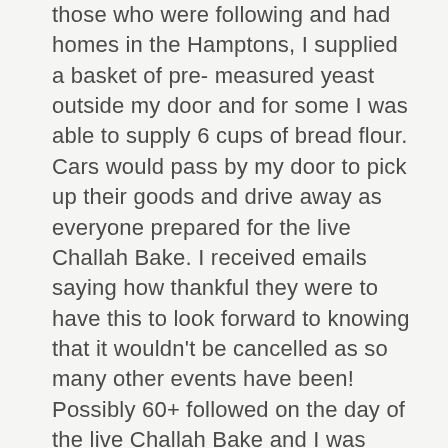those who were following and had homes in the Hamptons, I supplied a basket of pre- measured yeast outside my door and for some I was able to supply 6 cups of bread flour. Cars would pass by my door to pick up their goods and drive away as everyone prepared for the live Challah Bake. I received emails saying how thankful they were to have this to look forward to knowing that it wouldn't be cancelled as so many other events have been!
Possibly 60+ followed on the day of the live Challah Bake and I was able to address questions as we all prepared together. The questions were fabulous, and afterwards I was getting texts with photographs of progress which I was able to comment on, and share posts. This was a rewarding way for me to connect and reconnect with customers as well as people form other states who joined in.